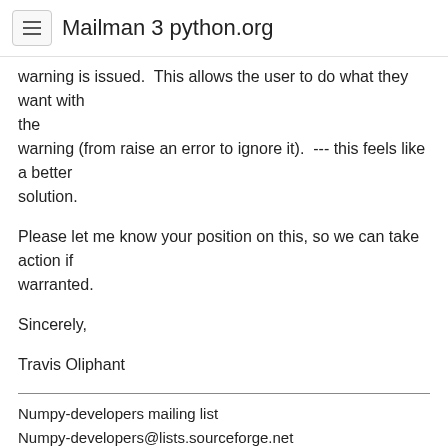Mailman 3 python.org
warning is issued.  This allows the user to do what they want with the
warning (from raise an error to ignore it).  --- this feels like a better solution.
Please let me know your position on this, so we can take action if warranted.
Sincerely,
Travis Oliphant
Numpy-developers mailing list
Numpy-developers@lists.sourceforge.net
http://lists.sourceforge.net/lists/listinfo/numpy-developers
👍 0   👎 0   A   🔗
↩ Reply